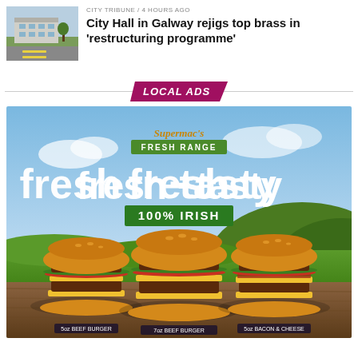[Figure (photo): Thumbnail photo of a building with a road/roundabout in front, green surroundings]
CITY TRIBUNE / 4 hours ago
City Hall in Galway rejigs top brass in 'restructuring programme'
LOCAL ADS
[Figure (photo): Supermac's Fresh Range advertisement showing three burgers on a wooden table with Irish countryside background. Text reads: Supermac's Fresh Range, fresh·tasty, 100% IRISH. Burgers labeled: 5oz Beef Burger, 7oz Beef Burger, 5oz Bacon & Cheese.]